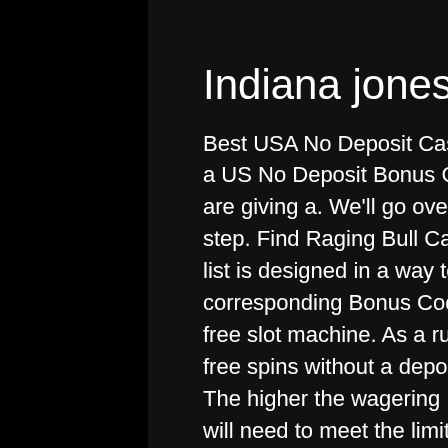Indiana jones free slot machine
Best USA No Deposit Casino Bonus Codes in 2021. Claiming a US No Deposit Bonus Code example: Raging Bull Casino are giving a. We'll go over how to claim this bonus step-by-step. Find Raging Bull Casino's Latest Offer on Our List - Our list is designed in a way to make all bonuses and their corresponding Bonus Codes easy to access, indiana jones free slot machine. As a rule, online casinos offer 20 too 100 free spins without a deposit, indiana jones free slot machine. The higher the wagering requirements are, the more time you will need to meet the limit to withdraw your winnings. Aim for 30-35 times. More and more casinos are visible...